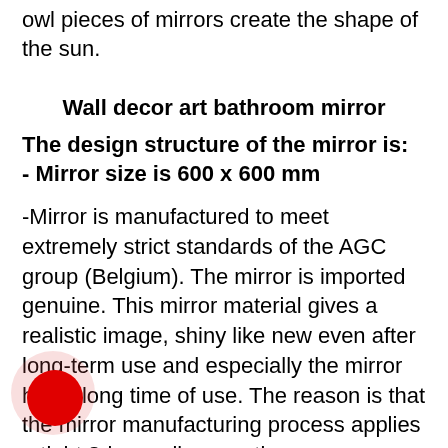owl pieces of mirrors create the shape of the sun.
Wall decor art bathroom mirror
The design structure of the mirror is:
- Mirror size is 600 x 600 mm
-Mirror is manufactured to meet extremely strict standards of the AGC group (Belgium). The mirror is imported genuine. This mirror material gives a realistic image, shiny like new even after long-term use and especially the mirror has a long time of use. The reason is that the mirror manufacturing process applies a tight 8-layer silver coating